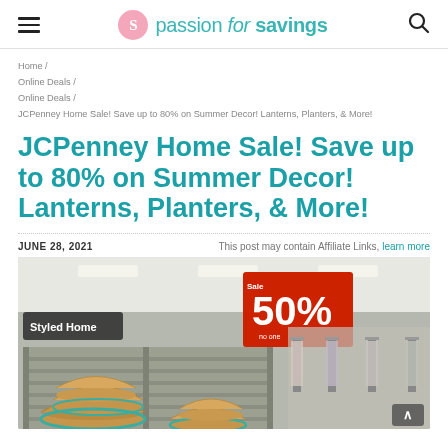passion for savings (logo header with hamburger menu and search icon)
Home / Online Deals / Online Deals / JCPenney Home Sale! Save up to 80% on Summer Decor! Lanterns, Planters, & More!
JCPenney Home Sale! Save up to 80% on Summer Decor! Lanterns, Planters, & More!
JUNE 28, 2021   This post may contain Affiliate Links, learn more
[Figure (photo): Interior of a JCPenney store showing a display rack with wooden bowls and a large red 50% sale sign hanging from the ceiling. The store background shows clothing racks and ceiling lights.]